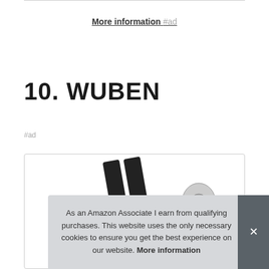More information #ad
10. WUBEN
#ad
[Figure (photo): Product image showing WUBEN item, partially visible with dark diagonal elements and a small connector/accessory]
As an Amazon Associate I earn from qualifying purchases. This website uses the only necessary cookies to ensure you get the best experience on our website. More information